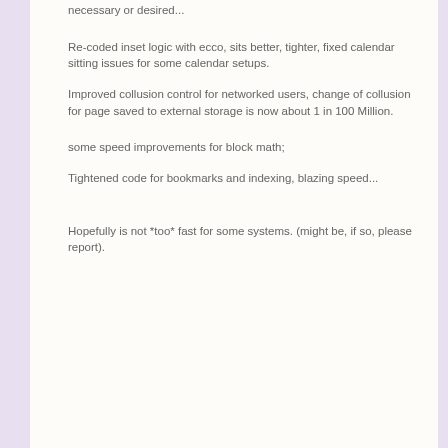necessary or desired...
Re-coded inset logic with ecco,   sits better, tighter,  fixed calendar sitting issues for some calendar setups.
Improved collusion control for networked users,   change of collusion for page saved to external storage is now about 1 in 100 Million.
some speed improvements for block math;
Tightened code for bookmarks and indexing,  blazing speed...
Hopefully is not *too* fast for some systems.  (might be,  if so,  please report).